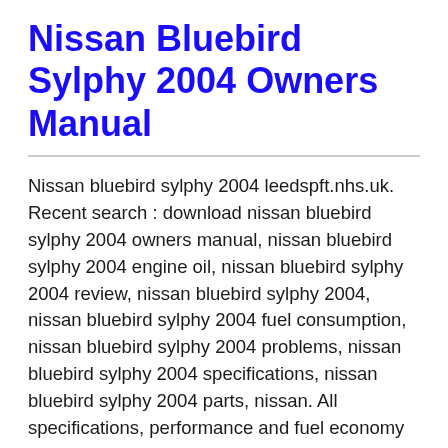Nissan Bluebird Sylphy 2004 Owners Manual
Nissan bluebird sylphy 2004 leedspft.nhs.uk. Recent search : download nissan bluebird sylphy 2004 owners manual, nissan bluebird sylphy 2004 engine oil, nissan bluebird sylphy 2004 review, nissan bluebird sylphy 2004, nissan bluebird sylphy 2004 fuel consumption, nissan bluebird sylphy 2004 problems, nissan bluebird sylphy 2004 specifications, nissan bluebird sylphy 2004 parts, nissan. All specifications, performance and fuel economy data of nissan bluebird sylphy 15i (80 kw / 109 ps / 107 hp), edition of the year 2004 for japan, including